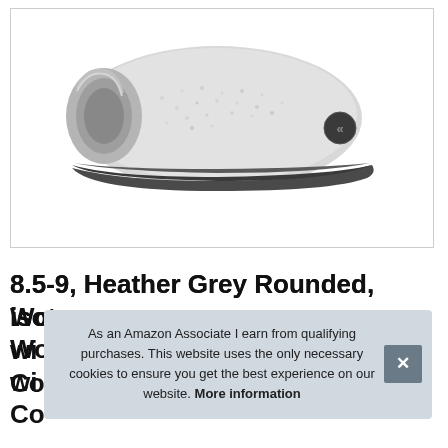[Figure (photo): A light grey heather Terry cloth/felt women's clog slipper with dark charcoal rubber outsole, shown in side profile view against a white background inside a bordered box. A small circular logo is visible on the heel.]
8.5-9, Heather Grey Rounded, isotoner Women's... with... Co...
As an Amazon Associate I earn from qualifying purchases. This website uses the only necessary cookies to ensure you get the best experience on our website. More information